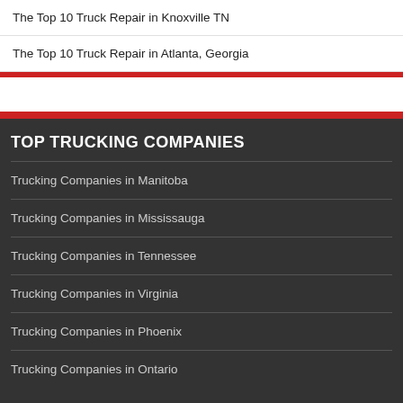The Top 10 Truck Repair in Knoxville TN
The Top 10 Truck Repair in Atlanta, Georgia
TOP TRUCKING COMPANIES
Trucking Companies in Manitoba
Trucking Companies in Mississauga
Trucking Companies in Tennessee
Trucking Companies in Virginia
Trucking Companies in Phoenix
Trucking Companies in Ontario
TRUCKS FOR SALE
Maverick Transportation